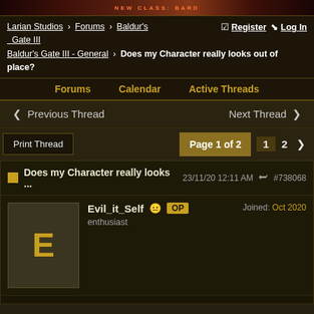[Figure (photo): Dark banner image at top of forum page with orange/red text 'NEW CLASS: BARD']
Larian Studios > Forums > Baldur's Gate III > Baldur's Gate III - General > Does my Character really looks out of place? | Register | Log In
Forums | Calendar | Active Threads
< Previous Thread | Next Thread >
Print Thread | Page 1 of 2 | 1 | 2 | >
Does my Character really looks ... 23/11/20 12:11 AM #738068
Evil_it_Self OP enthusiast | Joined: Oct 2020
[Figure (photo): Dark screenshot/image bar at bottom of post area]